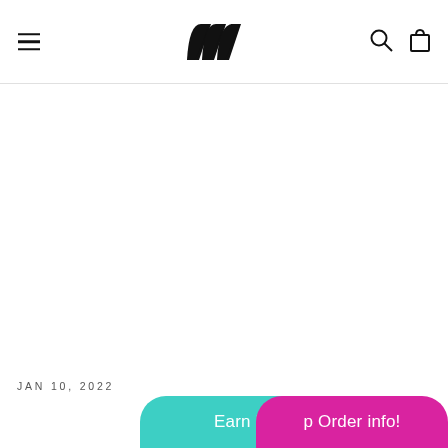Navigation header with hamburger menu, logo, search and cart icons
JAN 10, 2022
Earn Rewards
p Order info!